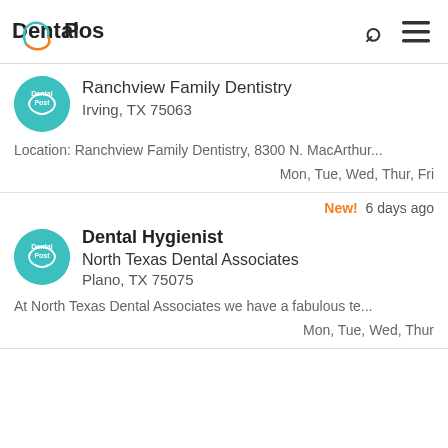DentalPost
Ranchview Family Dentistry
Irving, TX 75063
Location: Ranchview Family Dentistry, 8300 N. MacArthur...
Mon, Tue, Wed, Thur, Fri
New! 6 days ago
Dental Hygienist
North Texas Dental Associates
Plano, TX 75075
At North Texas Dental Associates we have a fabulous te...
Mon, Tue, Wed, Thur